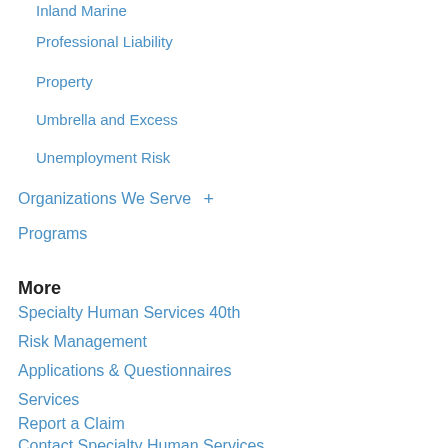Inland Marine
Professional Liability
Property
Umbrella and Excess
Unemployment Risk
Organizations We Serve +
Programs
More
Specialty Human Services 40th
Risk Management
Applications & Questionnaires
Services
Report a Claim
Contact Specialty Human Services